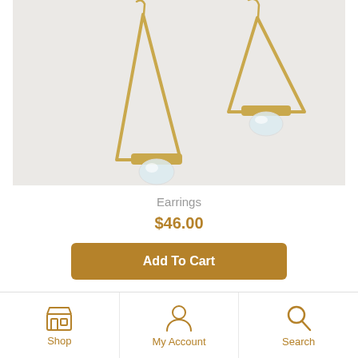[Figure (photo): Two gold triangular geometric earrings with clear crystal/quartz stones at the bottom, photographed on a white/light grey background.]
Earrings
$46.00
Add To Cart
Shop | My Account | Search